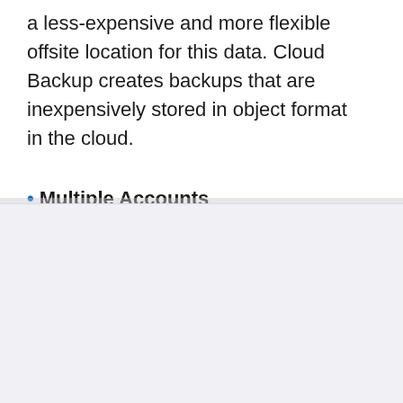a less-expensive and more flexible offsite location for this data. Cloud Backup creates backups that are inexpensively stored in object format in the cloud.
• Multiple Accounts
NetApp uses cookies
We use strictly necessary cookies for the proper delivery of our online services. We use other types of cookies to customize experiences and to drive continuous improvement. By closing this banner or by browsing this site, you agree and accept the use of cookies in accordance with our policy.
Accept all cookies
Cookie settings